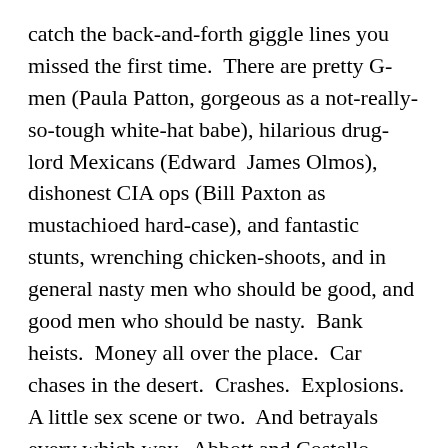catch the back-and-forth giggle lines you missed the first time.  There are pretty G-men (Paula Patton, gorgeous as a not-really-so-tough white-hat babe), hilarious drug-lord Mexicans (Edward  James Olmos), dishonest CIA ops (Bill Paxton as mustachioed hard-case), and fantastic stunts, wrenching chicken-shoots, and in general nasty men who should be good, and good men who should be nasty.  Bank heists.  Money all over the place.  Car chases in the desert.  Crashes.  Explosions.  A little sex scene or two.  And betrayals every which way.  Abbott and Costello-worthy bits are done over food in cafés, kitchens, and outside, escaping.  Risible as they are, they require close attention, lest you miss some of the gems from this upscale enactment of a graphic novel.  We even stayed to see the Humane Society line at the end attest to the "No animals were hurt in the making of this film."  Whew.
There's one scene that bothered my companion and myself, and all the still-grinning reviewers  gabbing near the water fountain after the screening agreed: a matter of